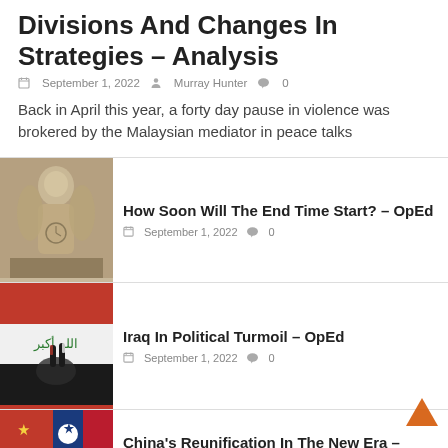Divisions And Changes In Strategies – Analysis
September 1, 2022  Murray Hunter  0
Back in April this year, a forty day pause in violence was brokered by the Malaysian mediator in peace talks
[Figure (photo): Stone statue of a grieving angel figure with a clock]
How Soon Will The End Time Start? – OpEd
September 1, 2022  0
[Figure (photo): Iraqi flag with hand making peace sign painted in flag colors]
Iraq In Political Turmoil – OpEd
September 1, 2022  0
[Figure (photo): Taiwan and China flags held together]
China's Reunification In The New Era – OpEd
September 1, 2022  0